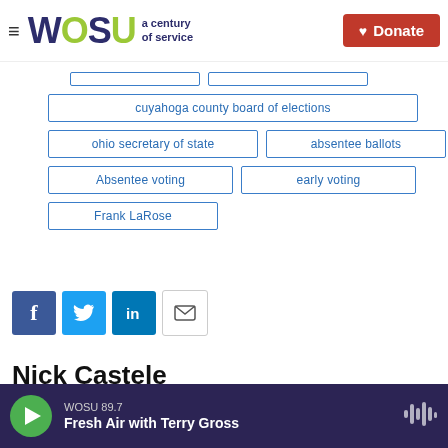WOSU a century of service | Donate
cuyahoga county board of elections
ohio secretary of state
absentee ballots
Absentee voting
early voting
Frank LaRose
[Figure (infographic): Social share buttons: Facebook, Twitter, LinkedIn, Email]
Nick Castele
WOSU 89.7 | Fresh Air with Terry Gross